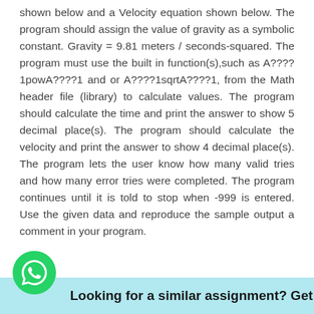shown below and a Velocity equation shown below. The program should assign the value of gravity as a symbolic constant. Gravity = 9.81 meters / seconds-squared. The program must use the built in function(s),such as A????1powA????1 and or A????1sqrtA????1, from the Math header file (library) to calculate values. The program should calculate the time and print the answer to show 5 decimal place(s). The program should calculate the velocity and print the answer to show 4 decimal place(s). The program lets the user know how many valid tries and how many error tries were completed. The program continues until it is told to stop when -999 is entered. Use the given data and reproduce the sample output a comment in your program.
[Figure (logo): WhatsApp logo green circle with phone icon]
Looking for a similar assignment? Get